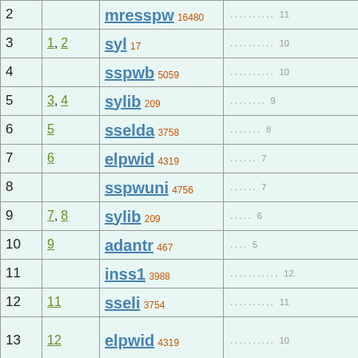| # | Ref | Name | Dots |
| --- | --- | --- | --- |
| 2 |  | mresspw 16480 | .......... 11 |
| 3 | 1, 2 | syl 17 | .......... 10 |
| 4 |  | sspwb 5059 | .......... 10 |
| 5 | 3, 4 | sylib 209 | ........ 9 |
| 6 | 5 | sselda 3758 | ....... 8 |
| 7 | 6 | elpwid 4319 | ...... 7 |
| 8 |  | sspwuni 4756 | ...... 7 |
| 9 | 7, 8 | sylib 209 | ..... 6 |
| 10 | 9 | adantr 467 | .... 5 |
| 11 |  | inss1 3988 | ........... 12 |
| 12 | 11 | sseli 3754 | .......... 11 |
| 13 | 12 | elpwid 4319 | .......... 10 |